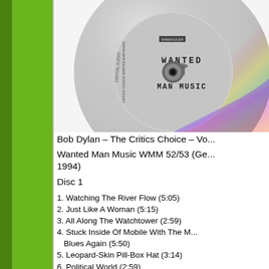[Figure (photo): Photograph of a CD disc labeled 'WANTED MAN MUSIC', cropped showing the upper right portion of the disc with rainbow iridescence visible. The disc label shows 'WANTED' and 'MAN MUSIC' text.]
Bob Dylan – The Critics Choice – Vo...
Wanted Man Music WMM 52/53 (Ge... 1994)
Disc 1
1. Watching The River Flow (5:05)
2. Just Like A Woman (5:15)
3. All Along The Watchtower (2:59)
4. Stuck Inside Of Mobile With The M... Blues Again (5:50)
5. Leopard-Skin Pill-Box Hat (3:14)
6. Political World (2:59)
7. Has Anybody Seen My Love (5:52...
8. What Was It You Wanted (4:47...)